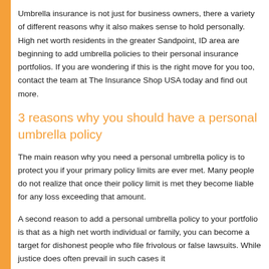Umbrella insurance is not just for business owners, there a variety of different reasons why it also makes sense to hold personally.  High net worth residents in the greater Sandpoint, ID area are beginning to add umbrella policies to their personal insurance portfolios. If you are wondering if this is the right move for you too, contact the team at The Insurance Shop USA today and find out more.
3 reasons why you should have a personal umbrella policy
The main reason why you need a personal umbrella policy is to protect you if your primary policy limits are ever met. Many people do not realize that once their policy limit is met they become liable for any loss exceeding that amount.
A second reason to add a personal umbrella policy to your portfolio is that as a high net worth individual or family, you can become a target for dishonest people who file frivolous or false lawsuits. While justice does often prevail in such cases it